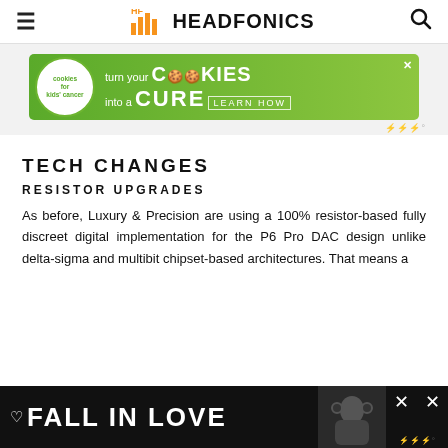≡  HF HEADFONICS  🔍
[Figure (infographic): Cookies for Kids Cancer advertisement banner: green background with cookies logo badge on left, text 'turn your COOKIES into a CURE LEARN HOW' on right with X close button]
TECH CHANGES
RESISTOR UPGRADES
As before, Luxury & Precision are using a 100% resistor-based fully discreet digital implementation for the P6 Pro DAC design unlike delta-sigma and multibit chipset-based architectures. That means a
[Figure (infographic): Bottom overlay advertisement: dark background with heart icon, 'FALL IN LOVE' text in white bold, person with headphones on right, X close button, mediavine watermark]